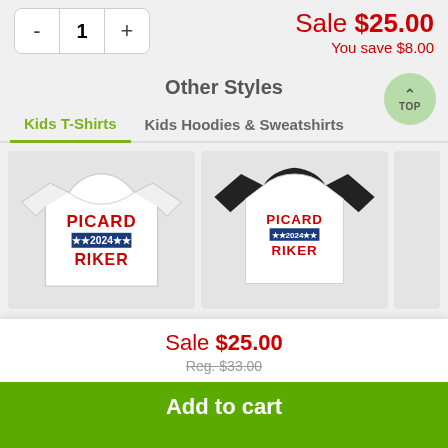Sale $25.00
You save $8.00
Other Styles
Kids T-Shirts | Kids Hoodies & Sweatshirts
[Figure (photo): White kids t-shirt with PICARD 2024 RIKER print]
[Figure (photo): Black and white raglan kids t-shirt with PICARD 2024 RIKER print]
Sale $25.00
Reg. $33.00
Add to cart